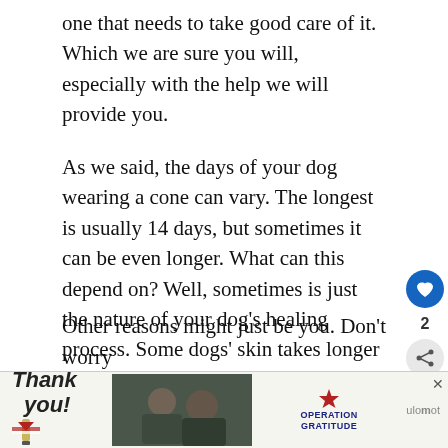one that needs to take good care of it. Which we are sure you will, especially with the help we will provide you.
As we said, the days of your dog wearing a cone can vary. The longest is usually 14 days, but sometimes it can be even longer. What can this depend on? Well, sometimes is just the nature of your dog’s healing process. Some dogs’ skin takes longer to heal.
Other reasons might just be you. Don’t worry
[Figure (infographic): Advertisement banner for Operation Gratitude featuring a handwritten 'Thank you' with a flag pencil, a photo of military personnel, and the Operation Gratitude logo with a star emblem.]